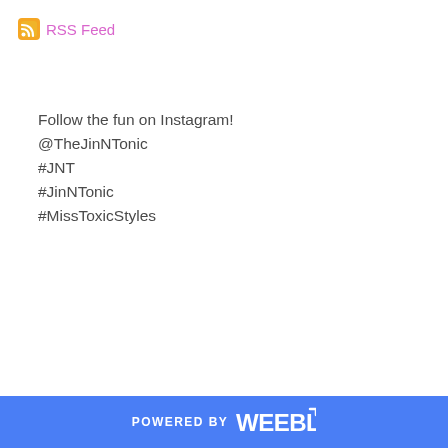RSS Feed
Follow the fun on Instagram!
@TheJinNTonic
#JNT
#JinNTonic
#MissToxicStyles
POWERED BY weebly